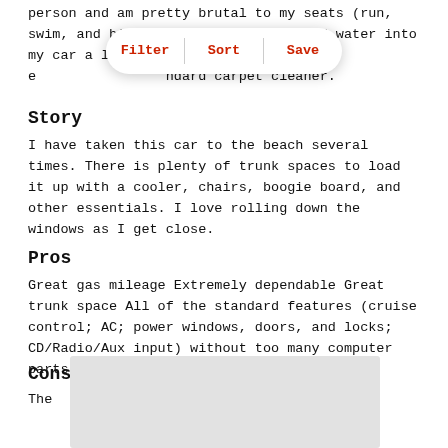person and am pretty brutal to my seats (run, swim, and bicycle and bring sweat and water into my car a lot); I have been able to e...andard carpet cleaner.
[Figure (screenshot): Filter/Sort/Save toolbar overlay with three red bold labels separated by dividers on a white rounded pill shape with shadow]
Story
I have taken this car to the beach several times. There is plenty of trunk spaces to load it up with a cooler, chairs, boogie board, and other essentials. I love rolling down the windows as I get close.
Pros
Great gas mileage Extremely dependable Great trunk space All of the standard features (cruise control; AC; power windows, doors, and locks; CD/Radio/Aux input) without too many computer parts for things to go wrong
Cons
The...